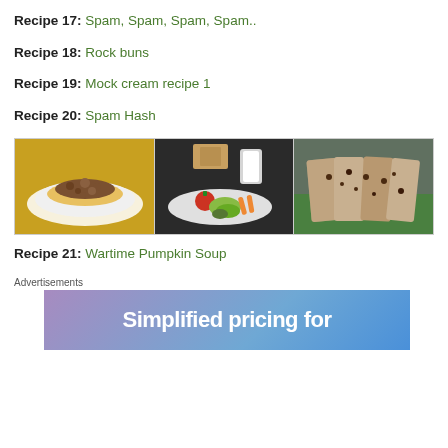Recipe 17: Spam, Spam, Spam, Spam..
Recipe 18: Rock buns
Recipe 19: Mock cream recipe 1
Recipe 20: Spam Hash
[Figure (photo): Three food photos in a row: left shows a dish on a yellow plate with crumbly topping; center shows a plate with vegetables, tomato, bread, and a glass of milk; right shows sliced dark fruit bread on a green surface.]
Recipe 21: Wartime Pumpkin Soup
Advertisements
[Figure (other): Advertisement banner with gradient purple-blue background and white text reading 'Simplified pricing for']